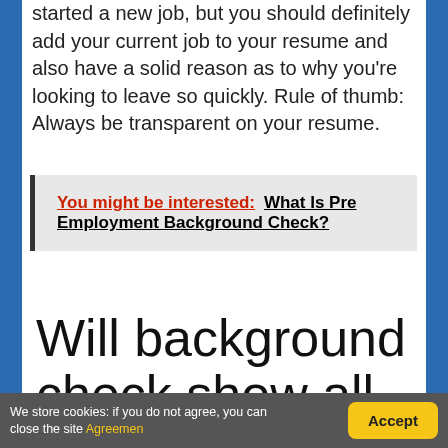It's okay to apply to other jobs after you recently started a new job, but you should definitely add your current job to your resume and also have a solid reason as to why you're looking to leave so quickly. Rule of thumb: Always be transparent on your resume.
You might be interested:  What Is Pre Employment Background Check?
Will background check show all my jobs?
We store cookies: if you do not agree, you can close the site Agreemen